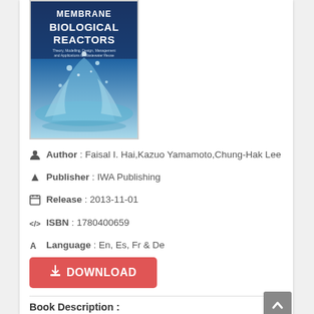[Figure (photo): Book cover of Membrane Biological Reactors showing blue water splash background with title text]
Author : Faisal I. Hai,Kazuo Yamamoto,Chung-Hak Lee
Publisher : IWA Publishing
Release : 2013-11-01
ISBN : 1780400659
Language : En, Es, Fr & De
DOWNLOAD
Book Description :